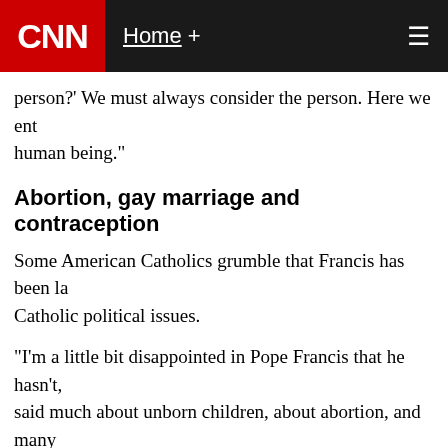CNN  Home +
person?' We must always consider the person. Here we ent human being."
Abortion, gay marriage and contraception
Some American Catholics grumble that Francis has been la Catholic political issues.
"I'm a little bit disappointed in Pope Francis that he hasn't, said much about unborn children, about abortion, and many that," Bishop Thomas Tobin of Providence, Rhode Island, sa
Francis said that he's aware of the criticism, but he is not g
“We cannot insist only on issues related to abortion, gay ma contraceptive methods," he told his Jesuit interviewer. "I ha these things, and I was reprimanded for that."
But the pope said the church's teachings on those issue are believes in those teachings, so what else is there to say?